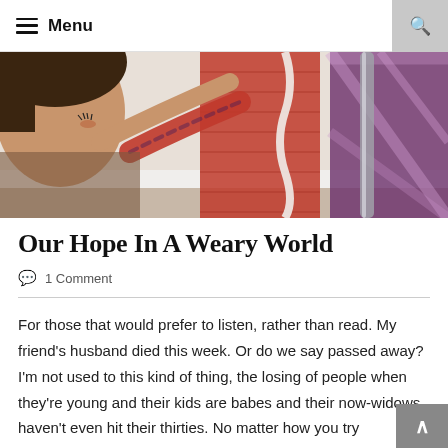Menu
[Figure (photo): A child looking at Christmas stockings hung on a stair railing; red and plaid stockings visible.]
Our Hope In A Weary World
1 Comment
For those that would prefer to listen, rather than read. My friend's husband died this week. Or do we say passed away? I'm not used to this kind of thing, the losing of people when they're young and their kids are babes and their now-widows haven't even hit their thirties. No matter how you try